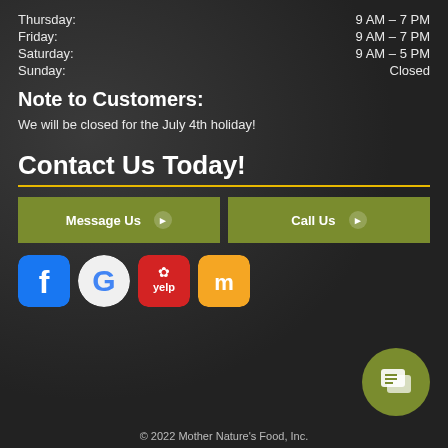Thursday: 9 AM–7 PM
Friday: 9 AM–7 PM
Saturday: 9 AM–5 PM
Sunday: Closed
Note to Customers:
We will be closed for the July 4th holiday!
Contact Us Today!
Message Us
Call Us
[Figure (infographic): Social media icons: Facebook, Google, Yelp, Manta]
[Figure (infographic): Green circular chat/message bubble icon]
© 2022 Mother Nature's Food, Inc.